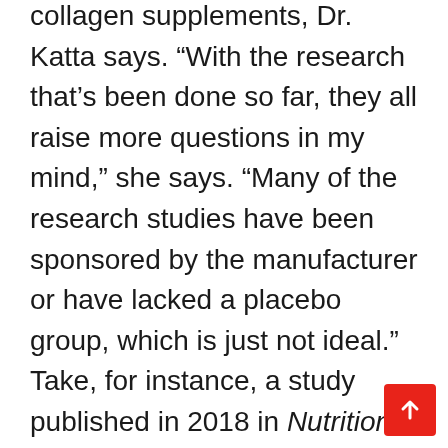collagen supplements, Dr. Katta says. “With the research that’s been done so far, they all raise more questions in my mind,” she says. “Many of the research studies have been sponsored by the manufacturer or have lacked a placebo group, which is just not ideal.” Take, for instance, a study published in 2018 in Nutrition Research. Researchers found that collagen supplementation may be helpful for skin elasticity. Big caveat: the researchers work for a company that makes collagen supplements.